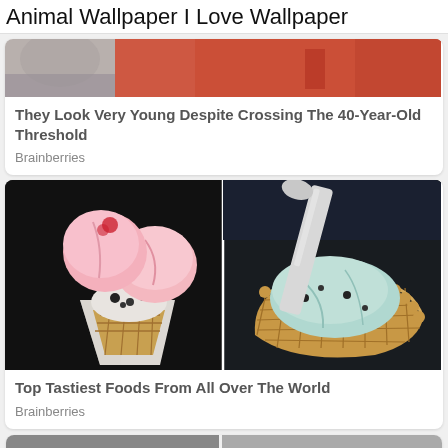Animal Wallpaper I Love Wallpaper
[Figure (photo): Partial photo of people, partially cropped at top]
They Look Very Young Despite Crossing The 40-Year-Old Threshold
Brainberries
[Figure (photo): Photo of ice cream cones - pink scoops in waffle cone on left wrapped in paper, blue/mint ice cream in waffle bowl on right with spoon]
Top Tastiest Foods From All Over The World
Brainberries
[Figure (photo): Partial photo at bottom, showing two images side by side, cropped]